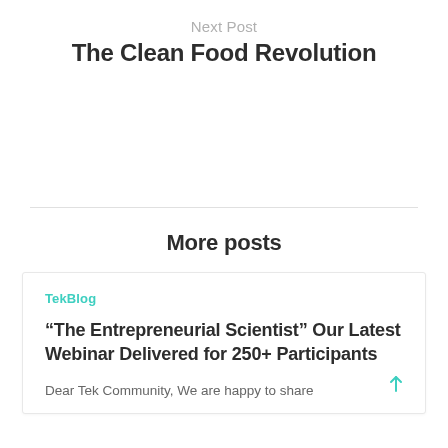Next Post
The Clean Food Revolution
More posts
TekBlog
“The Entrepreneurial Scientist” Our Latest Webinar Delivered for 250+ Participants
Dear Tek Community, We are happy to share